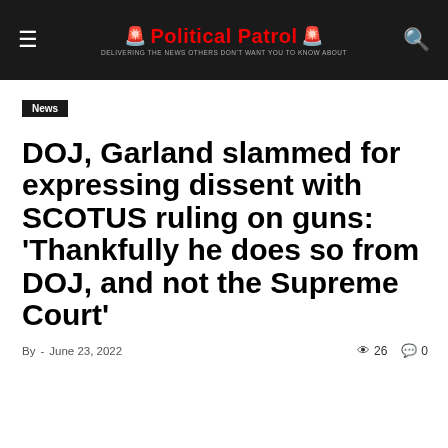Political Patrol
News
DOJ, Garland slammed for expressing dissent with SCOTUS ruling on guns: ‘Thankfully he does so from DOJ, and not the Supreme Court’
By  -  June 23, 2022   26  0